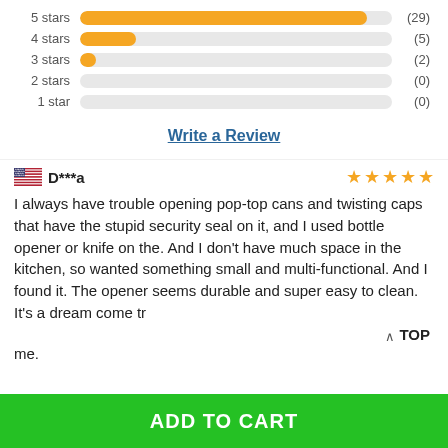[Figure (bar-chart): Star ratings distribution]
Write a Review
D***a
I always have trouble opening pop-top cans and twisting caps that have the stupid security seal on it, and I used bottle opener or knife on the. And I don't have much space in the kitchen, so wanted something small and multi-functional. And I found it. The opener seems durable and super easy to clean. It's a dream come tr me.
TOP
ADD TO CART